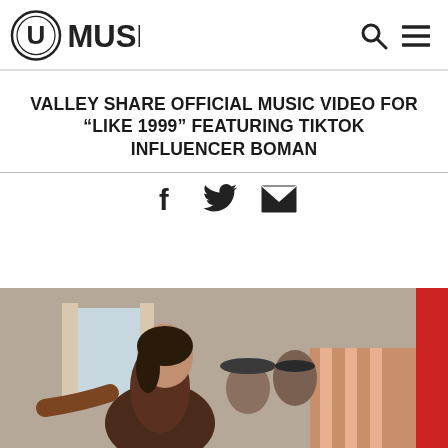U MUSIC
VALLEY SHARE OFFICIAL MUSIC VIDEO FOR “LIKE 1999” FEATURING TIKTOK INFLUENCER BOMAN
[Figure (illustration): Social share icons: Facebook, Twitter, Email]
[Figure (photo): Band photo of Valley - members in a room, woman in brown top in foreground, two men behind her, red sidebar with VALLEY text vertically]